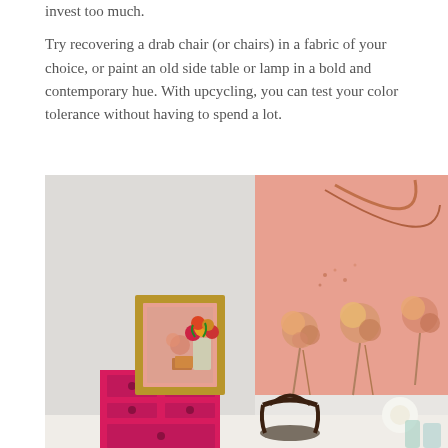invest too much.
Try recovering a drab chair (or chairs) in a fabric of your choice, or paint an old side table or lamp in a bold and contemporary hue. With upcycling, you can test your color tolerance without having to spend a lot.
[Figure (photo): Interior photo showing a pink/magenta dresser with colorful flower arrangement in a glass vase on top, a gold-framed artwork leaning against the wall, a large abstract painting with pink background and flower motifs on the right wall, a bentwood chair, and glass vases with flowers in the foreground right.]